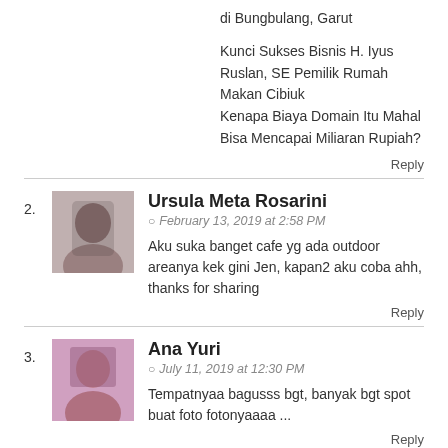di Bungbulang, Garut
Kunci Sukses Bisnis H. Iyus Ruslan, SE Pemilik Rumah Makan Cibiuk
Kenapa Biaya Domain Itu Mahal Bisa Mencapai Miliaran Rupiah?
Reply
2. Ursula Meta Rosarini
February 13, 2019 at 2:58 PM
Aku suka banget cafe yg ada outdoor areanya kek gini Jen, kapan2 aku coba ahh, thanks for sharing
Reply
3. Ana Yuri
July 11, 2019 at 12:30 PM
Tempatnyaa bagusss bgt, banyak bgt spot buat foto fotonyaaaa ...
Reply
4.